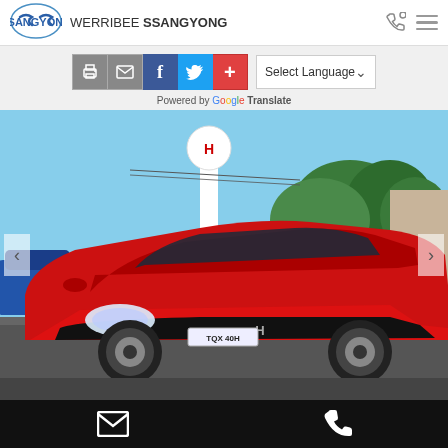[Figure (logo): SsangYong logo (blue oval with S shape)]
WERRIBEE SSANGYONG
[Figure (screenshot): Toolbar with print, email, Facebook, Twitter, and plus social share buttons, plus a Select Language dropdown powered by Google Translate]
[Figure (photo): Red Honda Civic sedan parked in a car dealership lot with a Honda sign pole, blue sky and trees in background. License plate: TQX 40H]
[Figure (infographic): Black footer bar with white email envelope icon on left and white phone handset icon on right]